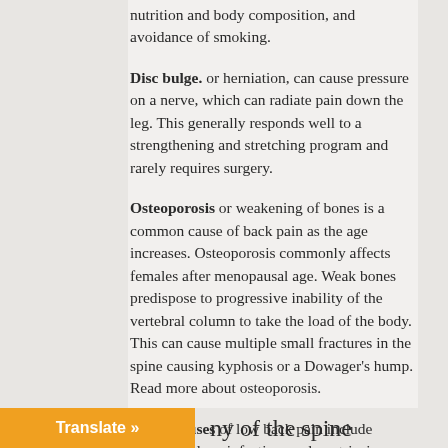nutrition and body composition, and avoidance of smoking.
Disc bulge. or herniation, can cause pressure on a nerve, which can radiate pain down the leg. This generally responds well to a strengthening and stretching program and rarely requires surgery.
Osteoporosis or weakening of bones is a common cause of back pain as the age increases. Osteoporosis commonly affects females after menopausal age. Weak bones predispose to progressive inability of the vertebral column to take the load of the body. This can cause multiple small fractures in the spine causing kyphosis or a Dowager's hump. Read more about osteoporosis.
Other causes of low back pain include bladder/kidney infection, endometriosis, cancer, or ovarian problems.
ny of the spine